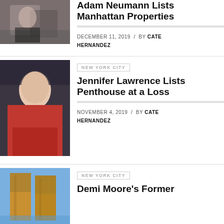[Figure (photo): Two people at an event, person in black outfit]
Adam Neumann Lists Manhattan Properties
DECEMBER 11, 2019 / BY CATE HERNANDEZ
[Figure (photo): Jennifer Lawrence in red dress]
NEW YORK CITY
Jennifer Lawrence Lists Penthouse at a Loss
NOVEMBER 4, 2019 / BY CATE HERNANDEZ
[Figure (photo): Building in New York City, twin towers style]
NEW YORK CITY
Demi Moore's Former